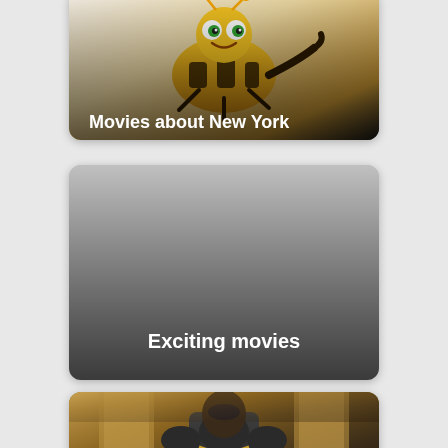[Figure (screenshot): Movie category card showing animated bee character (Bee Movie) with label 'Movies about New York' at the bottom]
[Figure (screenshot): Movie category card with gray placeholder background and label 'Exciting movies' at the bottom]
[Figure (screenshot): Movie category card showing a person in Black Panther superhero armor/suit, partially visible]